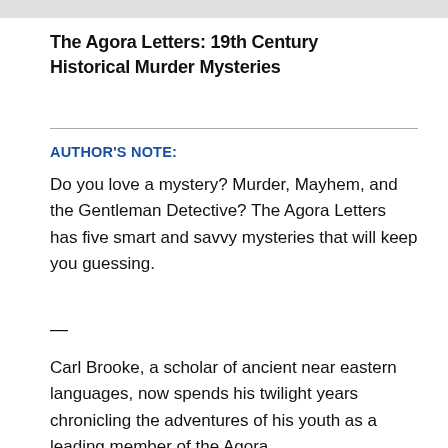The Agora Letters: 19th Century Historical Murder Mysteries
AUTHOR'S NOTE:
Do you love a mystery? Murder, Mayhem, and the Gentleman Detective? The Agora Letters has five smart and savvy mysteries that will keep you guessing.
—
Carl Brooke, a scholar of ancient near eastern languages, now spends his twilight years chronicling the adventures of his youth as a leading member of the Agora